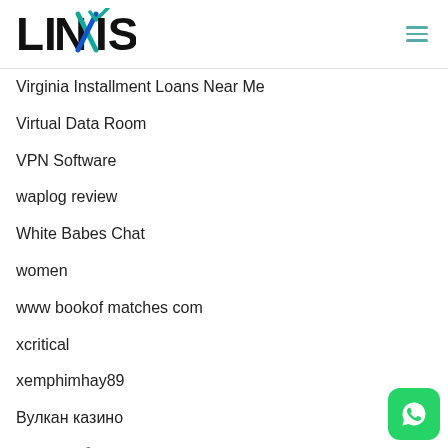LINXIS
Virginia Installment Loans Near Me
Virtual Data Room
VPN Software
waplog review
White Babes Chat
women
www bookof matches com
xcritical
xemphimhay89
Вулкан казино
Казино обзор
Криптовалюты
Курсы Валют
[Figure (logo): WhatsApp button in bottom right corner]